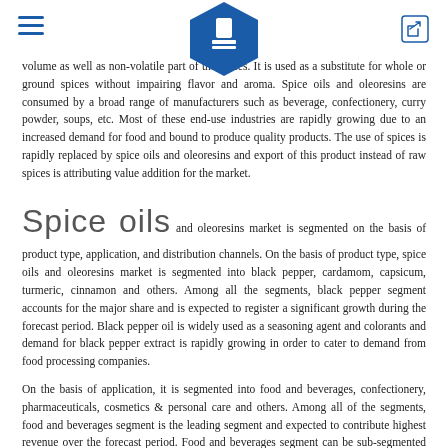[Navigation header with hamburger menu, hexagon logo, and share icon]
volume as well as non-volatile part of the spices. It is used as a substitute for whole or ground spices without impairing flavor and aroma. Spice oils and oleoresins are consumed by a broad range of manufacturers such as beverage, confectionery, curry powder, soups, etc. Most of these end-use industries are rapidly growing due to an increased demand for food and bound to produce quality products. The use of spices is rapidly replaced by spice oils and oleoresins and export of this product instead of raw spices is attributing value addition for the market.
Spice oils and oleoresins market is segmented on the basis of product type, application, and distribution channels. On the basis of product type, spice oils and oleoresins market is segmented into black pepper, cardamom, capsicum, turmeric, cinnamon and others. Among all the segments, black pepper segment accounts for the major share and is expected to register a significant growth during the forecast period. Black pepper oil is widely used as a seasoning agent and colorants and demand for black pepper extract is rapidly growing in order to cater to demand from food processing companies.
On the basis of application, it is segmented into food and beverages, confectionery, pharmaceuticals, cosmetics & personal care and others. Among all of the segments, food and beverages segment is the leading segment and expected to contribute highest revenue over the forecast period. Food and beverages segment can be sub-segmented into food industry include